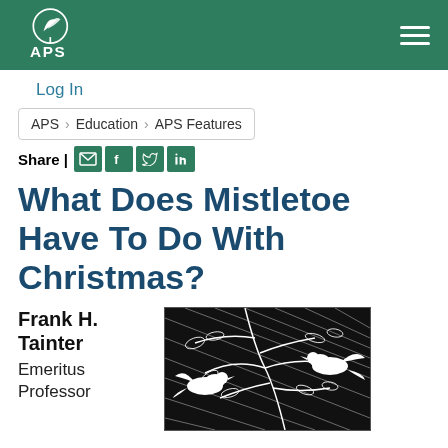[Figure (logo): APS (American Phytopathological Society) logo with leaf/plant icon on green header bar]
Log In
APS › Education › APS Features
Share | [email] [facebook] [twitter] [linkedin]
What Does Mistletoe Have To Do With Christmas?
Frank H. Tainter
Emeritus Professor
[Figure (illustration): Black and white woodcut-style illustration showing birds (doves) among mistletoe or tree branches]